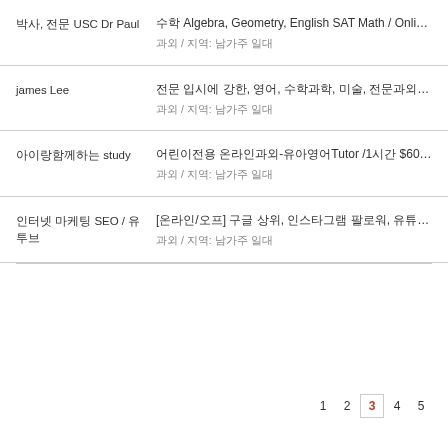박사, 전문 USC Dr Paul | 수학 Algebra, Geometry, English SAT Math / Online Live 과외 / 지역: 남가주 일대
james Lee | 전문 입시에 강한, 영어, 수학과학, 미술, 전문과외 및 입시컨설팅 과외 / 지역: 남가주 일대
아이랑함께하는 study | 어린이전용 온라인과외-유아영어Tutor /1시간 $60/hr부터 과외 / 지역: 남가주 일대
인터넷 마케팅 SEO / 유투브 | [온라인/오프] 구글 상위, 인스타그램 팔로워, 유튜브동영상 조회수(구독자증가) SEO 광고대행 - 명함, 전단지 광고 인쇄, 각종 인쇄 과외 / 지역: 남가주 일대
1 2 3 4 5